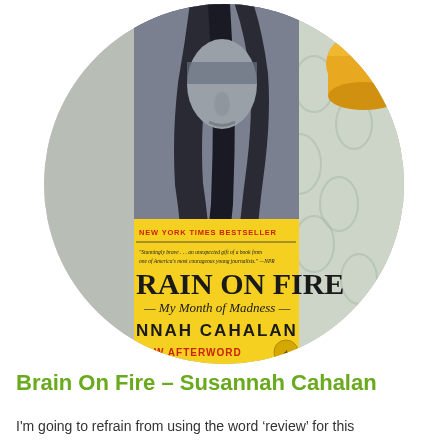[Figure (photo): A circular cropped photo showing a book 'Brain On Fire: My Month of Madness' by Susannah Cahalan (New York Times Bestseller) with a yellow cover and a black-and-white portrait of a woman on the top half, placed next to a yellow cup on a patterned green tablecloth.]
Brain On Fire – Susannah Cahalan
I'm going to refrain from using the word 'review' for this